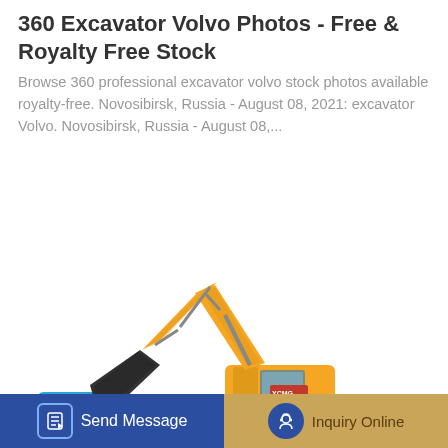360 Excavator Volvo Photos - Free & Royalty Free Stock
Browse 360 professional excavator volvo stock photos available royalty-free. Novosibirsk, Russia - August 08, 2021: excavator Volvo. Novosibirsk, Russia - August 08,...
[Figure (photo): Yellow XCMG excavator with arm extended and bucket, isolated on white background]
[Figure (other): Send Message button with document icon on dark blue background]
[Figure (other): Inquiry Online button with headset icon on tan/gold background]